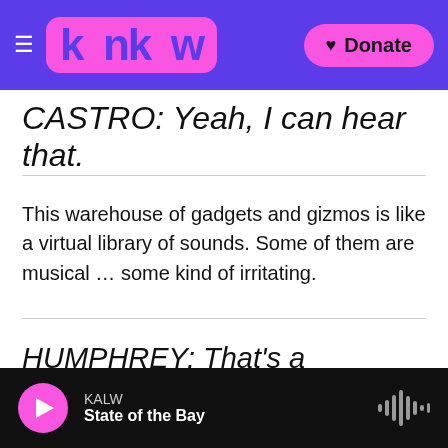KALW — [logo] — Donate
CASTRO: Yeah, I can hear that.
This warehouse of gadgets and gizmos is like a virtual library of sounds. Some of them are musical … some kind of irritating.
HUMPHREY: That's a colossally irritating sound… CASTRO: Yeah, it's pretty irritating.
KALW — State of the Bay